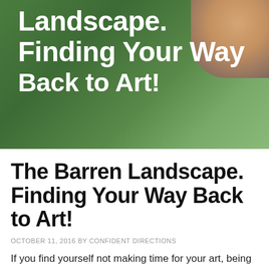[Figure (photo): Hero image of hands holding a compass over green grass/landscape, with bold white text overlay reading 'Landscape. Finding Your Way Back to Art!']
The Barren Landscape. Finding Your Way Back to Art!
OCTOBER 11, 2016 BY CONFIDENT DIRECTIONS
If you find yourself not making time for your art, being at a standstill with your creative energy and innovation, or keeping your art in the dark, please join